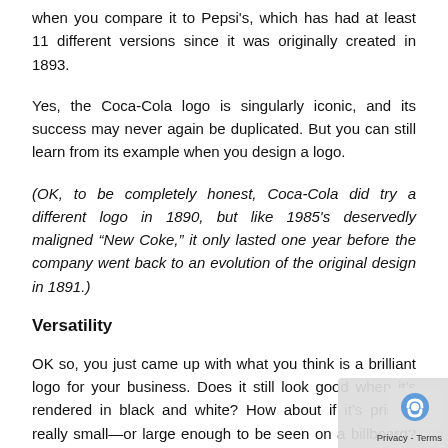when you compare it to Pepsi's, which has had at least 11 different versions since it was originally created in 1893.
Yes, the Coca-Cola logo is singularly iconic, and its success may never again be duplicated. But you can still learn from its example when you design a logo.
(OK, to be completely honest, Coca-Cola did try a different logo in 1890, but like 1985's deservedly maligned “New Coke,” it only lasted one year before the company went back to an evolution of the original design in 1891.)
Versatility
OK so, you just came up with what you think is a brilliant logo for your business. Does it still look good when it’s rendered in black and white? How about if it’s printed really small—or large enough to be seen on a billboard? D look good on letterhead? What about in an message? Will it play in the top left-hand corner of your